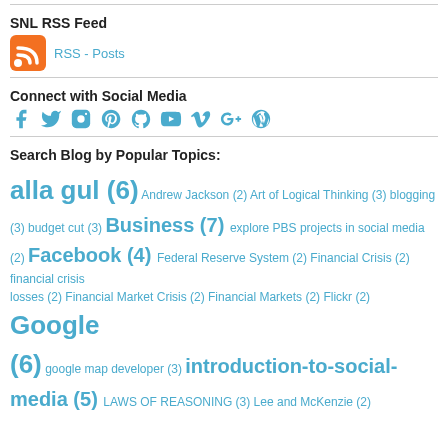SNL RSS Feed
[Figure (other): RSS feed icon (orange) and RSS - Posts link]
Connect with Social Media
[Figure (other): Social media icons: Facebook, Twitter, Instagram, Pinterest, GitHub, YouTube, Vimeo, Google+, WordPress]
Search Blog by Popular Topics:
alla gul (6) Andrew Jackson (2) Art of Logical Thinking (3) blogging (3) budget cut (3) Business (7) explore PBS projects in social media (2) Facebook (4) Federal Reserve System (2) Financial Crisis (2) financial crisis losses (2) Financial Market Crisis (2) Financial Markets (2) Flickr (2) Google (6) google map developer (3) introduction-to-social-media (5) LAWS OF REASONING (3) Lee and McKenzie (2)